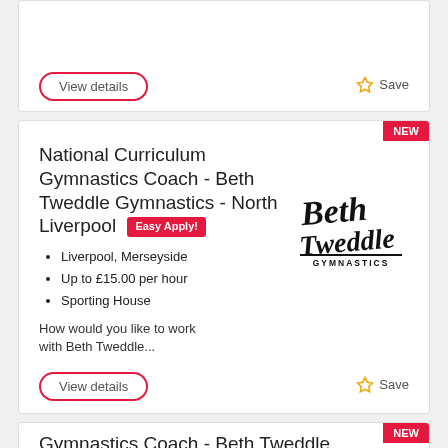[Figure (screenshot): View details button (pill/oval outline in pink) and Save button with star icon - top card bottom]
[Figure (screenshot): NEW badge, job listing card for National Curriculum Gymnastics Coach - Beth Tweddle Gymnastics - North Liverpool with Easy Apply badge, bullet points, description text, Beth Tweddle Gymnastics logo, View details and Save buttons]
National Curriculum Gymnastics Coach - Beth Tweddle Gymnastics - North Liverpool
Liverpool, Merseyside
Up to £15.00 per hour
Sporting House
How would you like to work with Beth Tweddle...
[Figure (logo): Beth Tweddle Gymnastics logo in black script font]
[Figure (screenshot): NEW badge and partial title of third card: Gymnastics Coach - Beth Tweddle]